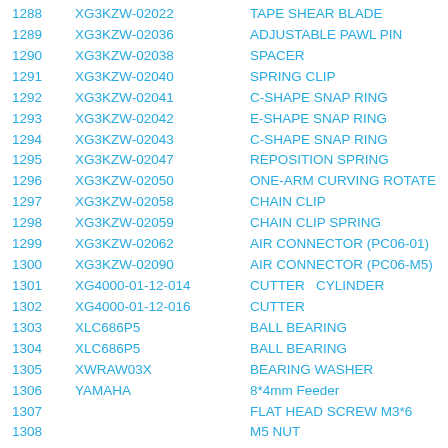| No. | Part Number | Description |
| --- | --- | --- |
| 1288 | XG3KZW-02022 | TAPE SHEAR BLADE |
| 1289 | XG3KZW-02036 | ADJUSTABLE PAWL PIN |
| 1290 | XG3KZW-02038 | SPACER |
| 1291 | XG3KZW-02040 | SPRING CLIP |
| 1292 | XG3KZW-02041 | C-SHAPE SNAP RING |
| 1293 | XG3KZW-02042 | E-SHAPE SNAP RING |
| 1294 | XG3KZW-02043 | C-SHAPE SNAP RING |
| 1295 | XG3KZW-02047 | REPOSITION SPRING |
| 1296 | XG3KZW-02050 | ONE-ARM CURVING ROTATE |
| 1297 | XG3KZW-02058 | CHAIN CLIP |
| 1298 | XG3KZW-02059 | CHAIN CLIP SPRING |
| 1299 | XG3KZW-02062 | AIR CONNECTOR (PC06-01) |
| 1300 | XG3KZW-02090 | AIR CONNECTOR (PC06-M5) |
| 1301 | XG4000-01-12-014 | CUTTER  CYLINDER |
| 1302 | XG4000-01-12-016 | CUTTER |
| 1303 | XLC686P5 | BALL BEARING |
| 1304 | XLC686P5 | BALL BEARING |
| 1305 | XWRAW03X | BEARING WASHER |
| 1306 | YAMAHA | 8*4mm Feeder |
| 1307 |  | FLAT HEAD SCREW M3*6 |
| 1308 |  | M5 NUT |
| 1309 |  | FLAT HEAD SCREW |